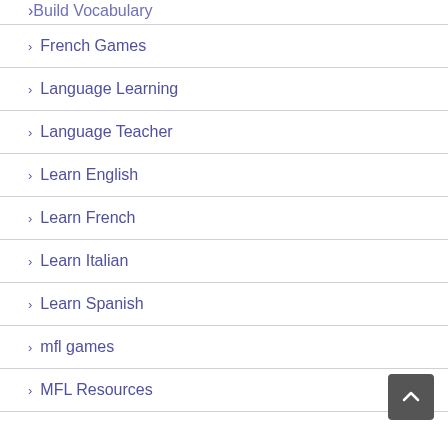Build Vocabulary
French Games
Language Learning
Language Teacher
Learn English
Learn French
Learn Italian
Learn Spanish
mfl games
MFL Resources